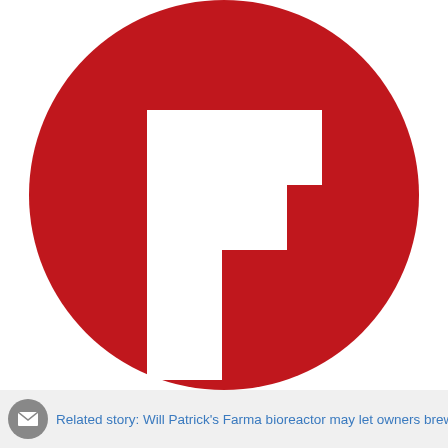[Figure (logo): Flipboard logo: white letter F shape on a dark red circle background]
Related story: Will Patrick's Farma bioreactor may let owners brew their own beer